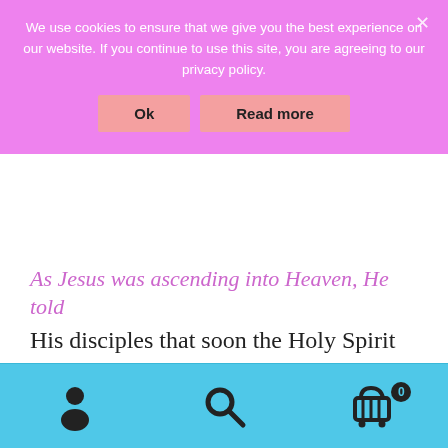We use cookies to ensure that we give you the best experience on our website. If you continue to use this site, you are agreeing to our privacy policy.
Ok | Read more
As Jesus was ascending into Heaven, He told His disciples that soon the Holy Spirit would come into their lives. So, Peter and the other disciples returned to where they'd been staying.
“They all joined together constantly in prayer, along with the women and Mary the mother of Jesus, and with his brothers.” (Acts 1:14)
[Figure (other): Bottom navigation bar with person/account icon, search icon, and shopping cart icon with badge showing 0]